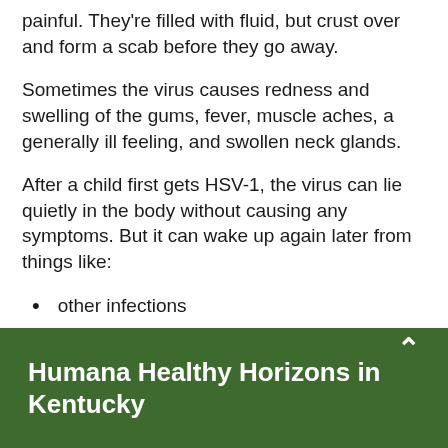painful. They're filled with fluid, but crust over and form a scab before they go away.
Sometimes the virus causes redness and swelling of the gums, fever, muscle aches, a generally ill feeling, and swollen neck glands.
After a child first gets HSV-1, the virus can lie quietly in the body without causing any symptoms. But it can wake up again later from things like:
other infections
a fever
Humana Healthy Horizons in Kentucky